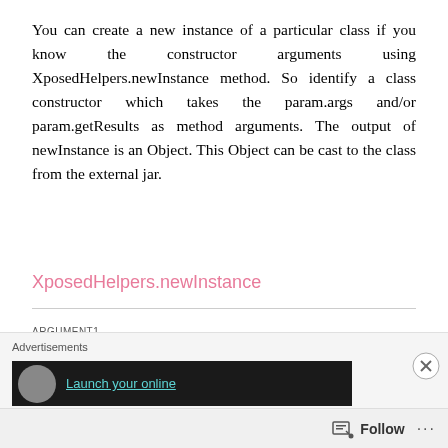You can create a new instance of a particular class if you know the constructor arguments using XposedHelpers.newInstance method. So identify a class constructor which takes the param.args and/or param.getResults as method arguments. The output of newInstance is an Object. This Object can be cast to the class from the external jar.
XposedHelpers.newInstance
ARGUMENT1 The class type which you require to instantiate. Here, you can specify the class name from the external jar.
[Figure (screenshot): Advertisement banner at the bottom of the page with 'Advertisements' label and a dark banner showing 'Launch your online' text in teal, with a close button (X circle) and a Follow bar at the bottom.]